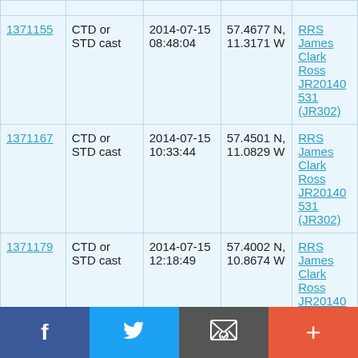| ID | Type | Date/Time | Location | Cruise |
| --- | --- | --- | --- | --- |
| 1371155 | CTD or STD cast | 2014-07-15 08:48:04 | 57.4677 N, 11.3171 W | RRS James Clark Ross JR20140531 (JR302) |
| 1371167 | CTD or STD cast | 2014-07-15 10:33:44 | 57.4501 N, 11.0829 W | RRS James Clark Ross JR20140531 (JR302) |
| 1371179 | CTD or STD cast | 2014-07-15 12:18:49 | 57.4002 N, 10.8674 W | RRS James Clark Ross JR20140531 (JR302) |
| 1371180 | CTD or | 2014-07- | 57.367 N, | RRS James |